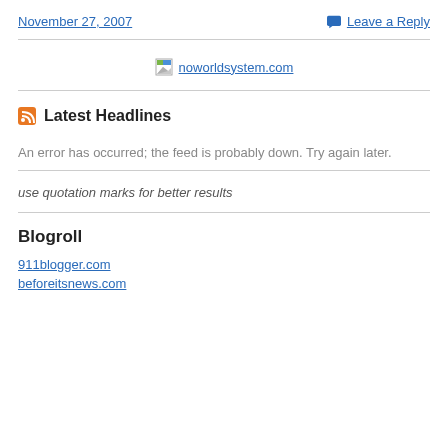November 27, 2007
Leave a Reply
[Figure (illustration): Broken image placeholder with link text 'noworldsystem.com']
Latest Headlines
An error has occurred; the feed is probably down. Try again later.
use quotation marks for better results
Blogroll
911blogger.com
beforeitsnews.com